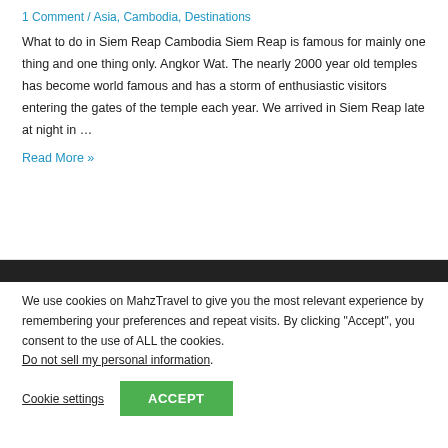1 Comment / Asia, Cambodia, Destinations
What to do in Siem Reap Cambodia Siem Reap is famous for mainly one thing and one thing only. Angkor Wat. The nearly 2000 year old temples has become world famous and has a storm of enthusiastic visitors entering the gates of the temple each year. We arrived in Siem Reap late at night in …
Read More »
[Figure (photo): Dark photo strip partially visible at section boundary]
We use cookies on MahzTravel to give you the most relevant experience by remembering your preferences and repeat visits. By clicking "Accept", you consent to the use of ALL the cookies. Do not sell my personal information.
Cookie settings
ACCEPT